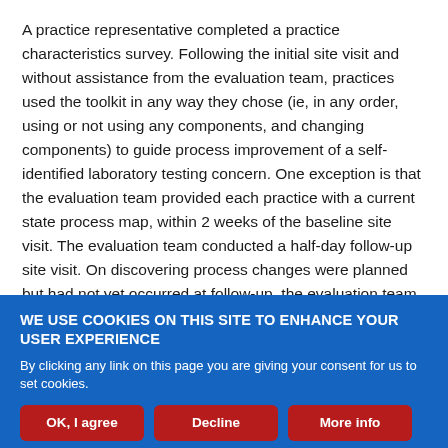A practice representative completed a practice characteristics survey. Following the initial site visit and without assistance from the evaluation team, practices used the toolkit in any way they chose (ie, in any order, using or not using any components, and changing components) to guide process improvement of a self-identified laboratory testing concern. One exception is that the evaluation team provided each practice with a current state process map, within 2 weeks of the baseline site visit. The evaluation team conducted a half-day follow-up site visit. On discovering process changes were planned but had not yet occurred at follow-up, the evaluation team followed up with the practice contact again 1 month later to assess
WE USE COOKIES ON THIS SITE TO ENHANCE YOUR USER EXPERIENCE
By clicking any link on this page you are giving your consent for us to set cookies.